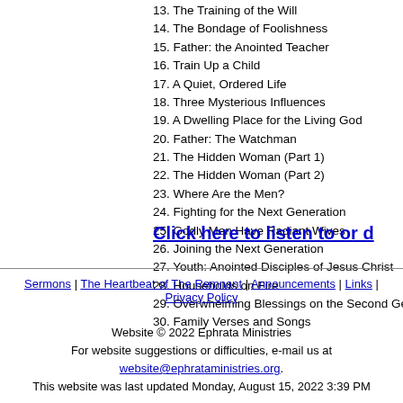13. The Training of the Will
14. The Bondage of Foolishness
15. Father: the Anointed Teacher
16. Train Up a Child
17. A Quiet, Ordered Life
18. Three Mysterious Influences
19. A Dwelling Place for the Living God
20. Father: The Watchman
21. The Hidden Woman (Part 1)
22. The Hidden Woman (Part 2)
23. Where Are the Men?
24. Fighting for the Next Generation
25. Godly Men Have Radiant Wives
26. Joining the Next Generation
27. Youth: Anointed Disciples of Jesus Christ
28. Households on Fire
29. Overwhelming Blessings on the Second Ge…
30. Family Verses and Songs
Click here to listen to or de…
Sermons | The Heartbeat of The Remnant | Announcements | Links | Privacy Policy
Website © 2022 Ephrata Ministries
For website suggestions or difficulties, e-mail us at website@ephrataministries.org.
This website was last updated Monday, August 15, 2022 3:39 PM